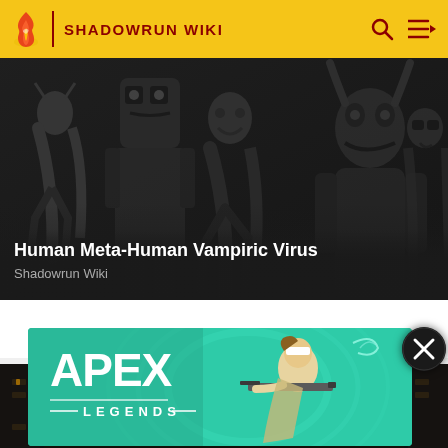SHADOWRUN WIKI
[Figure (illustration): Black and white illustration of various Shadowrun characters including cyborgs, monsters, and other creatures]
Human Meta-Human Vampiric Virus
Shadowrun Wiki
[Figure (screenshot): Shadowrun Hong Kong game logo/banner on dark background]
[Figure (illustration): Apex Legends advertisement banner featuring a character with a sniper rifle on teal background]